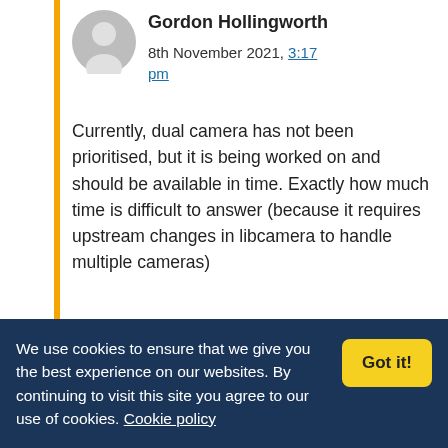Gordon Hollingworth
8th November 2021, 3:17 pm
Currently, dual camera has not been prioritised, but it is being worked on and should be available in time. Exactly how much time is difficult to answer (because it requires upstream changes in libcamera to handle multiple cameras)
duck
We use cookies to ensure that we give you the best experience on our websites. By continuing to visit this site you agree to our use of cookies. Cookie policy